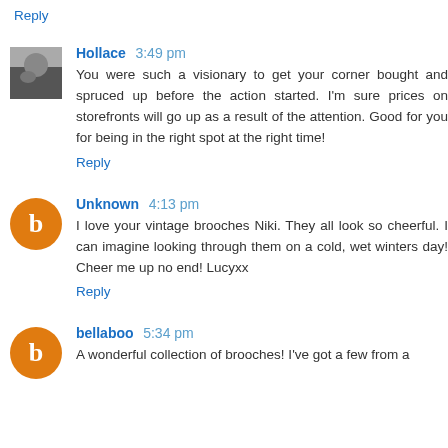Reply
Hollace 3:49 pm
You were such a visionary to get your corner bought and spruced up before the action started. I'm sure prices on storefronts will go up as a result of the attention. Good for you for being in the right spot at the right time!
Reply
Unknown 4:13 pm
I love your vintage brooches Niki. They all look so cheerful. I can imagine looking through them on a cold, wet winters day! Cheer me up no end! Lucyxx
Reply
bellaboo 5:34 pm
A wonderful collection of brooches! I've got a few from a